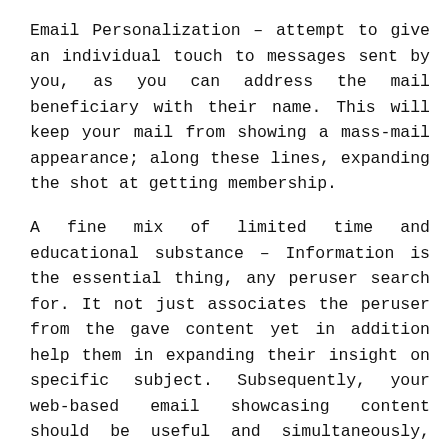Email Personalization – attempt to give an individual touch to messages sent by you, as you can address the mail beneficiary with their name. This will keep your mail from showing a mass-mail appearance; along these lines, expanding the shot at getting membership.
A fine mix of limited time and educational substance – Information is the essential thing, any peruser search for. It not just associates the peruser from the gave content yet in addition help them in expanding their insight on specific subject. Subsequently, your web-based email showcasing content should be useful and simultaneously, engaging as well. An engaging and instructive substance would have more effect on ideal interest group.
Zero in on sending messages on standard premise – If you need your supporter of remember you, you should send these sends once every week or month. This will